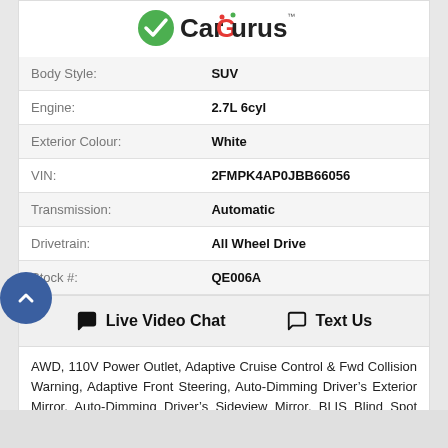[Figure (logo): CarGurus logo with green checkmark icon]
| Body Style: | SUV |
| Engine: | 2.7L 6cyl |
| Exterior Colour: | White |
| VIN: | 2FMPK4AP0JBB66056 |
| Transmission: | Automatic |
| Drivetrain: | All Wheel Drive |
| Stock #: | QE006A |
Live Video Chat   Text Us
AWD, 110V Power Outlet, Adaptive Cruise Control & Fwd Collision Warning, Adaptive Front Steering, Auto-Dimming Driver’s Exterior Mirror, Auto-Dimming Driver’s Sideview Mirror, BLIS Blind Spot Information System, Canadian Touring Package, Cold Weather Package, Deep Tray-Style.....Read More